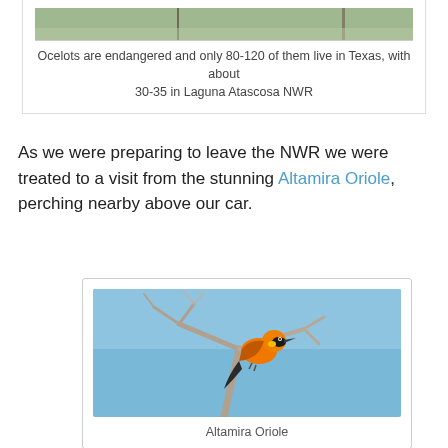Ocelots are endangered and only 80-120 of them live in Texas, with about 30-35 in Laguna Atascosa NWR
As we were preparing to leave the NWR we were treated to a visit from the stunning Altamira Oriole, perching nearby above our car.
[Figure (photo): Photograph of an Altamira Oriole, a bright orange bird with black markings, perched on a bare tree branch against a blue sky.]
Altamira Oriole